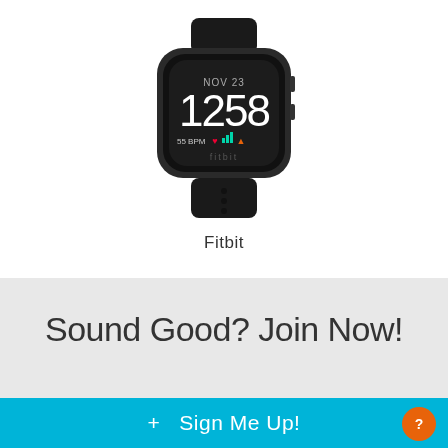[Figure (photo): A black Fitbit Versa smartwatch displaying the time 12:58 and date NOV 23 on its screen, with fitness tracking icons at the bottom of the display.]
Fitbit
Sound Good? Join Now!
+ Sign Me Up!